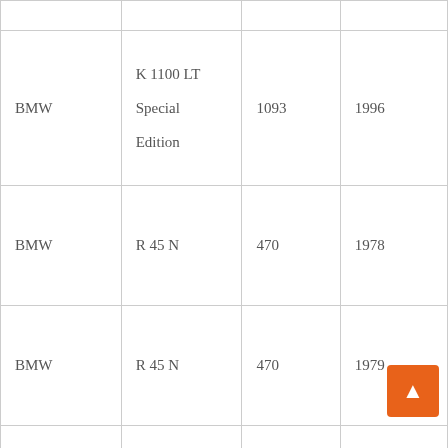| Make | Model | Engine (cc) | Year |
| --- | --- | --- | --- |
|  |  |  |  |
| BMW | K 1100 LT Special Edition | 1093 | 1996 |
| BMW | R 45 N | 470 | 1978 |
| BMW | R 45 N | 470 | 1979 |
|  |  |  |  |